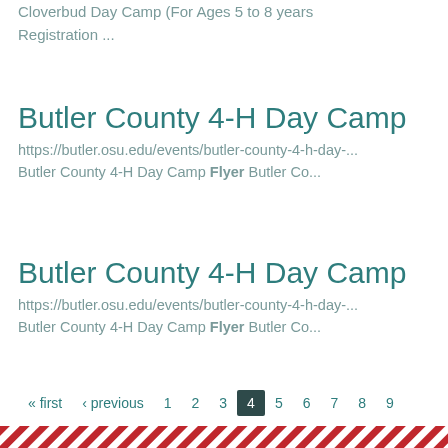Cloverbud Day Camp (For Ages 5 to 8 years ...
Registration ...
Butler County 4-H Day Camp
https://butler.osu.edu/events/butler-county-4-h-day-...
Butler County 4-H Day Camp Flyer Butler Co...
Butler County 4-H Day Camp
https://butler.osu.edu/events/butler-county-4-h-day-...
Butler County 4-H Day Camp Flyer Butler Co...
« first ‹ previous 1 2 3 4 5 6 7 8 9
[Figure (illustration): Red and white diagonal striped footer banner]